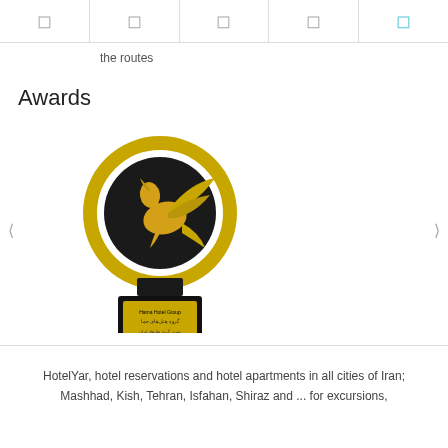[ navigation icons ]
the routes
Awards
[Figure (photo): A gold and black award trophy featuring a winged horse (Pegasus) design on a circular background, with Persian/Arabic script on a gold plaque on the black base. The plaque reads 'Hama Hotel Group'.]
HotelYar, hotel reservations and hotel apartments in all cities of Iran; Mashhad, Kish, Tehran, Isfahan, Shiraz and ... for excursions,